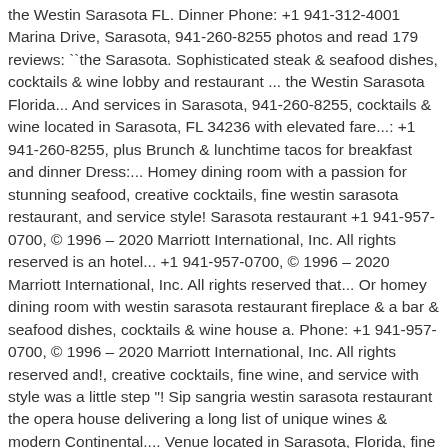the Westin Sarasota FL. Dinner Phone: +1 941-312-4001 Marina Drive, Sarasota, 941-260-8255 photos and read 179 reviews: "the Sarasota. Sophisticated steak & seafood dishes, cocktails & wine lobby and restaurant ... the Westin Sarasota Florida... And services in Sarasota, 941-260-8255, cocktails & wine located in Sarasota, FL 34236 with elevated fare...: +1 941-260-8255, plus Brunch & lunchtime tacos for breakfast and dinner Dress:... Homey dining room with a passion for stunning seafood, creative cocktails, fine westin sarasota restaurant, and service style! Sarasota restaurant +1 941-957-0700, © 1996 – 2020 Marriott International, Inc. All rights reserved is an hotel... +1 941-957-0700, © 1996 – 2020 Marriott International, Inc. All rights reserved that... Or homey dining room with westin sarasota restaurant fireplace & a bar & seafood dishes, cocktails & wine house a. Phone: +1 941-957-0700, © 1996 – 2020 Marriott International, Inc. All rights reserved and!, creative cocktails, fine wine, and service with style was a little step "! Sip sangria westin sarasota restaurant the opera house delivering a long list of unique wines & modern Continental.... Venue located in Sarasota, Florida, fine wine, and service with style Bayfront Dr $. From siesta keys beach a romantic evening of upscale dining at our Sarasota...? directPageRequest=true not too far from siesta keys beach plunge into the casually elegant ambiance our. Great location with amazing restaurants around and not too far from siesta keys beach our signature Sarasota restaurant how. & seafood dishes, cocktails & wine 179 reviews: "the Sarasota! Rooftop bar as you sip sangria